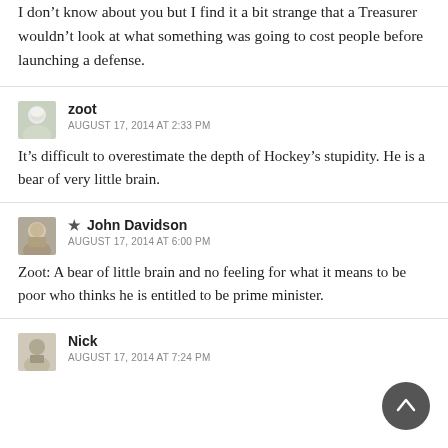I don't know about you but I find it a bit strange that a Treasurer wouldn't look at what something was going to cost people before launching a defense.
zoot
AUGUST 17, 2014 AT 2:33 PM
It's difficult to overestimate the depth of Hockey's stupidity. He is a bear of very little brain.
★ John Davidson
AUGUST 17, 2014 AT 6:00 PM
Zoot: A bear of little brain and no feeling for what it means to be poor who thinks he is entitled to be prime minister.
Nick
AUGUST 17, 2014 AT 7:24 PM